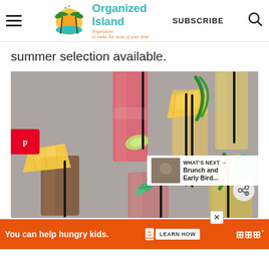Organized Island — Inspiration to make the most of your time | SUBSCRIBE
summer selection available.
[Figure (photo): Multiple tropical drinks in glasses with fruit garnishes including pineapple chunks, lime wedges, and mint leaves, with black straws, on a granite countertop. Drinks include red/pink and golden-colored beverages.]
WHAT'S NEXT → Brunch and Early Bird...
You can help hungry kids. NO KID HUNGRY LEARN HOW